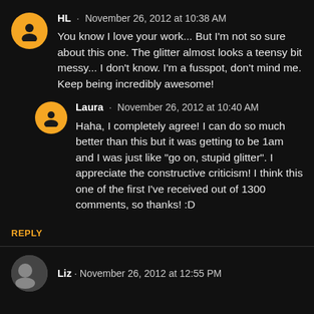HL · November 26, 2012 at 10:38 AM
You know I love your work... But I'm not so sure about this one. The glitter almost looks a teensy bit messy... I don't know. I'm a fusspot, don't mind me. Keep being incredibly awesome!
Laura · November 26, 2012 at 10:40 AM
Haha, I completely agree! I can do so much better than this but it was getting to be 1am and I was just like "go on, stupid glitter". I appreciate the constructive criticism! I think this one of the first I've received out of 1300 comments, so thanks! :D
REPLY
Liz · November 26, 2012 at 12:55 PM